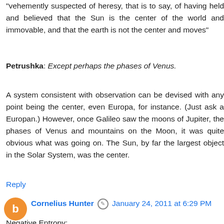"vehemently suspected of heresy, that is to say, of having held and believed that the Sun is the center of the world and immovable, and that the earth is not the center and moves"
Petrushka: Except perhaps the phases of Venus.
A system consistent with observation can be devised with any point being the center, even Europa, for instance. (Just ask a Europan.) However, once Galileo saw the moons of Jupiter, the phases of Venus and mountains on the Moon, it was quite obvious what was going on. The Sun, by far the largest object in the Solar System, was the center.
Reply
Cornelius Hunter
January 24, 2011 at 6:29 PM
Negative Entropy:

===

I would be happy to share a few of these evidences, which you surely already know. But I have to insist that you first